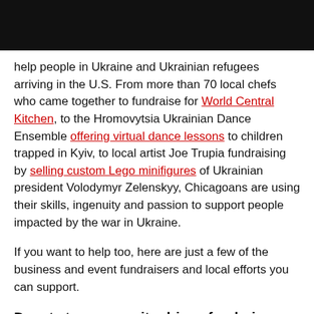[Figure (other): Black banner/header bar at top of page]
help people in Ukraine and Ukrainian refugees arriving in the U.S. From more than 70 local chefs who came together to fundraise for World Central Kitchen, to the Hromovytsia Ukrainian Dance Ensemble offering virtual dance lessons to children trapped in Kyiv, to local artist Joe Trupia fundraising by selling custom Lego minifigures of Ukrainian president Volodymyr Zelenskyy, Chicagoans are using their skills, ingenuity and passion to support people impacted by the war in Ukraine.
If you want to help too, here are just a few of the business and event fundraisers and local efforts you can support.
Donate to community-driven fundraisers and local refugee resettlement organizations